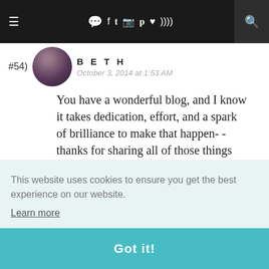≡  [chat icons] f t [instagram] [pinterest] [heart] [rss]  [search]
#54) BETH
October 3, 2014 at 1:53 AM
You have a wonderful blog, and I know it takes dedication, effort, and a spark of brilliance to make that happen- - thanks for sharing all of those things with
This website uses cookies to ensure you get the best experience on our website.
Learn more
Got it!
What a sweet giveaway! I've